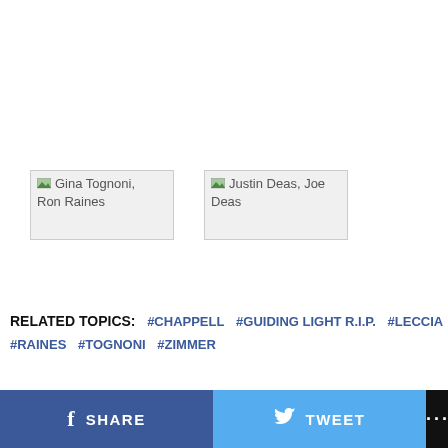[Figure (photo): Broken image placeholder for Gina Tognoni, Ron Raines]
[Figure (photo): Broken image placeholder for Justin Deas, Joe Deas]
RELATED TOPICS: #CHAPPELL #GUIDING LIGHT R.I.P. #LECCIA #RAINES #TOGNONI #ZIMMER
f SHARE  [Twitter bird] TWEET  ...